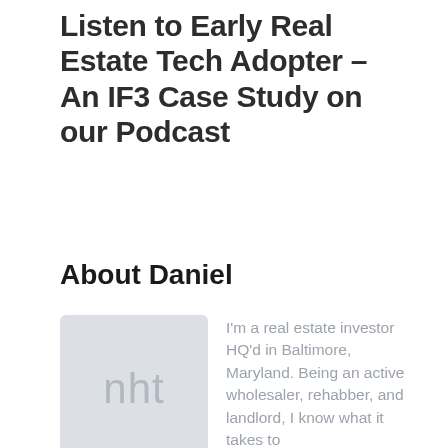Listen to Early Real Estate Tech Adopter – An IF3 Case Study on our Podcast
About Daniel
[Figure (illustration): Avatar placeholder box with light grey background and lowercase letters 'nht' in grey]
I'm a real estate investor HQ'd in Baltimore, Maryland. Being an active wholesaler, rehabber, and landlord, I know what it takes to